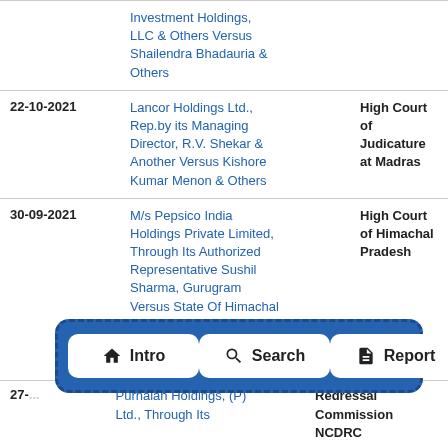| Date | Parties | Court |
| --- | --- | --- |
|  | Investment Holdings, LLC & Others Versus Shailendra Bhadauria & Others |  |
| 22-10-2021 | Lancor Holdings Ltd., Rep.by its Managing Director, R.V. Shekar & Another Versus Kishore Kumar Menon & Others | High Court of Judicature at Madras |
| 30-09-2021 | M/s Pepsico India Holdings Private Limited, Through Its Authorized Representative Sushil Sharma, Gurugram Versus State Of Himachal | High Court of Himachal Pradesh |
| 27-... | Purnaiah Holdings, (P) Ltd., Through Its | Redressal Commission NCDRC |
[Figure (infographic): Navigation bar overlay with three buttons: Intro (home icon), Search (magnifying glass icon), Report (document icon)]